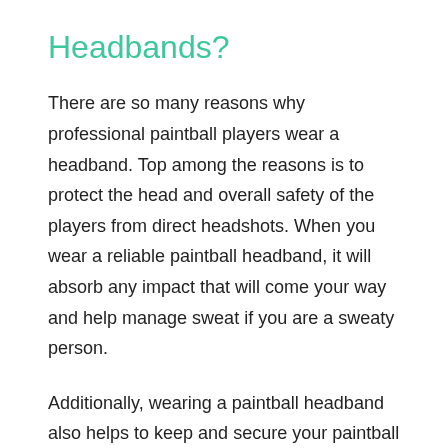Headbands?
There are so many reasons why professional paintball players wear a headband. Top among the reasons is to protect the head and overall safety of the players from direct headshots. When you wear a reliable paintball headband, it will absorb any impact that will come your way and help manage sweat if you are a sweaty person.
Additionally, wearing a paintball headband also helps to keep and secure your paintball mask on your head, so that even while running around the paintball field in a competition with your friends, your paintball mask would not fall off your head.